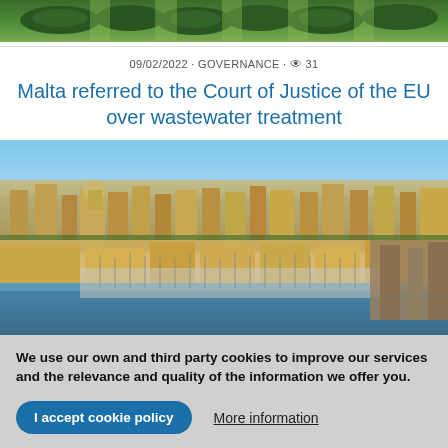[Figure (photo): Aerial view of green hedgerows/garden landscape from above]
09/02/2022 · GOVERNANCE · 👁 31
Malta referred to the Court of Justice of the EU over wastewater treatment
[Figure (photo): Aerial photograph of Malta's Grand Harbour with dense urban buildings, historic architecture, and marina filled with boats]
We use our own and third party cookies to improve our services and the relevance and quality of the information we offer you.
I accept cookie policy
More information